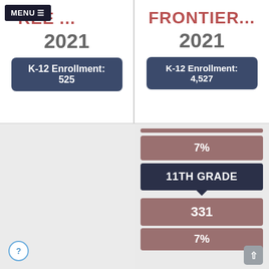MENU
DISTREE ...
FRONTIER...
2021
2021
K-12 Enrollment: 525
K-12 Enrollment: 4,527
7%
11TH GRADE
331
7%